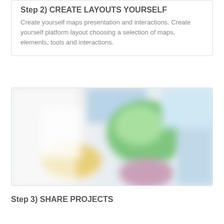Step 2) CREATE LAYOUTS YOURSELF
Create yourself maps presentation and interactions. Create yourself platform layout choosing a selection of maps, elements, tools and interactions.
[Figure (screenshot): Blurred screenshot of a map platform layout interface showing colorful map regions including green, yellow, pink and blue areas]
Step 3) SHARE PROJECTS